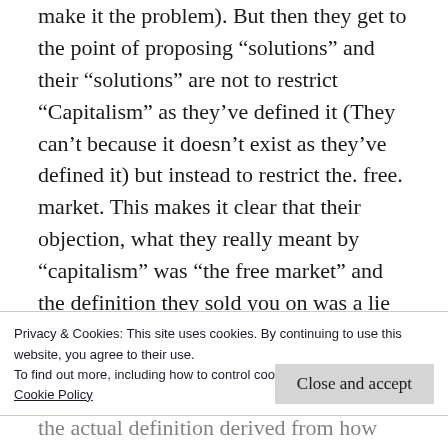make it the problem). But then they get to the point of proposing “solutions” and their “solutions” are not to restrict “Capitalism” as they’ve defined it (They can’t because it doesn’t exist as they’ve defined it) but instead to restrict the. free. market. This makes it clear that their objection, what they really meant by “capitalism” was “the free market” and the definition they sold you on was a lie all along.
Privacy & Cookies: This site uses cookies. By continuing to use this website, you agree to their use.
To find out more, including how to control cookies, see here: Cookie Policy
Close and accept
the actual definition derived from how